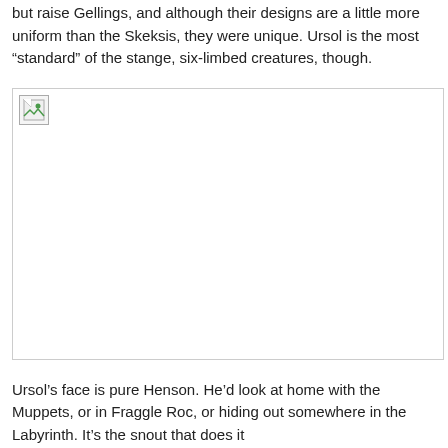but raise Gellings, and although their designs are a little more uniform than the Skeksis, they were unique. Ursol is the most “standard” of the stange, six-limbed creatures, though.
[Figure (photo): A broken/missing image placeholder showing a small image icon with a torn corner graphic in the top-left, bordered by a thin gray rectangle.]
Ursol’s face is pure Henson. He’d look at home with the Muppets, or in Fraggle Roc, or hiding out somewhere in the Labyrinth. It’s the snout that does it